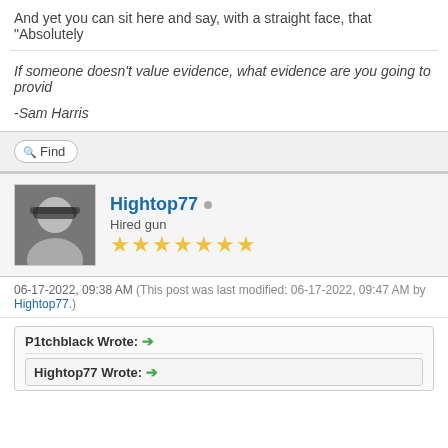And yet you can sit here and say, with a straight face, that "Absolutely
If someone doesn't value evidence, what evidence are you going to provid
-Sam Harris
Find
Hightop77  Hired gun ★★★★★★★
06-17-2022, 09:38 AM (This post was last modified: 06-17-2022, 09:47 AM by Hightop77.)
P1tchblack Wrote: →
Hightop77 Wrote: →